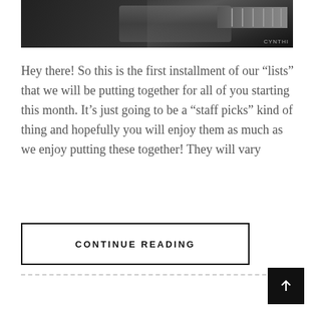[Figure (photo): Black and white photograph of a person playing guitar, showing hands on the guitar neck and fretboard, with 'CYNTHI' watermark visible in bottom right corner.]
Hey there! So this is the first installment of our “lists” that we will be putting together for all of you starting this month. It’s just going to be a “staff picks” kind of thing and hopefully you will enjoy them as much as we enjoy putting these together! They will vary
CONTINUE READING